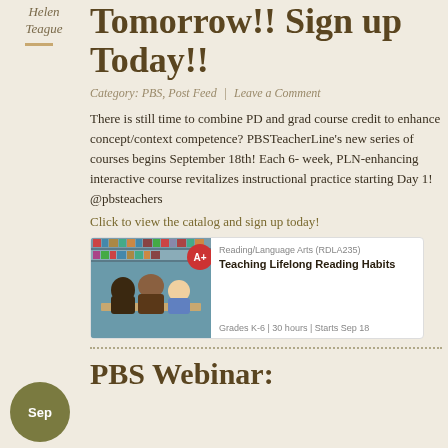Helen Teague
Tomorrow!! Sign up Today!!
Category: PBS, Post Feed | Leave a Comment
There is still time to combine PD and grad course credit to enhance concept/context competence? PBSTeacherLine's new series of courses begins September 18th! Each 6- week, PLN-enhancing interactive course revitalizes instructional practice starting Day 1! @pbsteachers
Click to view the catalog and sign up today!
[Figure (screenshot): Course card for Reading/Language Arts (RDLA235): Teaching Lifelong Reading Habits. Grades K-6 | 30 hours | Starts Sep 18. Shows image of students in a library on left, red badge with 'A+' icon, course info on right.]
PBS Webinar: